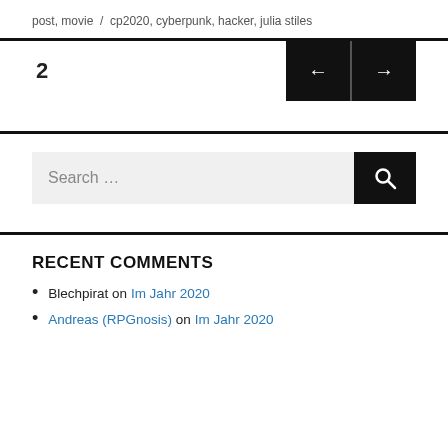post, movie  /  cp2020, cyberpunk, hacker, julia stiles
2
[Figure (other): Pagination navigation with left arrow and right arrow buttons]
Search ...
RECENT COMMENTS
Blechpirat on Im Jahr 2020
Andreas (RPGnosis) on Im Jahr 2020